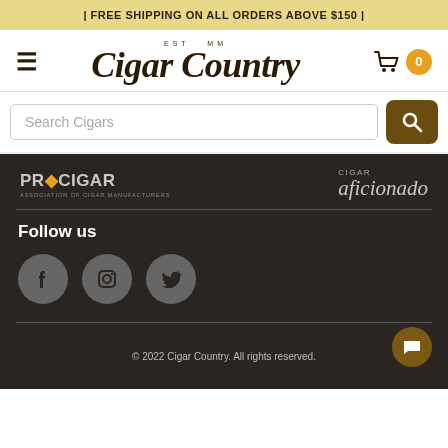| FREE SHIPPING ON ALL ORDERS ABOVE $150 |
[Figure (logo): Cigar Country logo with EST MM tagline, hamburger menu icon on left, shopping cart with badge '0' on right]
Search Cigars
[Figure (logo): ProCigar logo on the left and Cigar Aficionado logo on the right, on dark background]
Follow us
[Figure (infographic): Three social media icons: Facebook, Instagram, Twitter in grey circles]
© 2022 Cigar Country. All rights reserved.